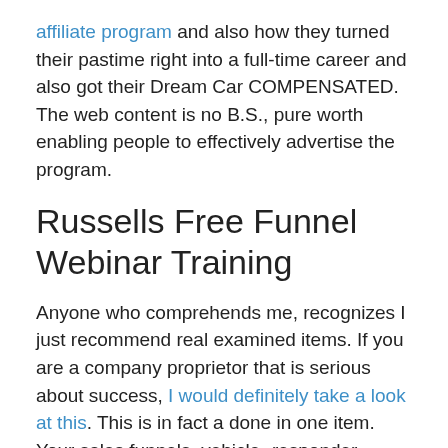affiliate program and also how they turned their pastime right into a full-time career and also got their Dream Car COMPENSATED. The web content is no B.S., pure worth enabling people to effectively advertise the program.
Russells Free Funnel Webinar Training
Anyone who comprehends me, recognizes I just recommend real examined items. If you are a company proprietor that is serious about success, I would definitely take a look at this. This is in fact a done in one item. Your sales funnels, vehicle -responder, landing pages, website, hosting and much more. This will certainly help any kind of organisation, instead it be ONLINE MARKETING little b...